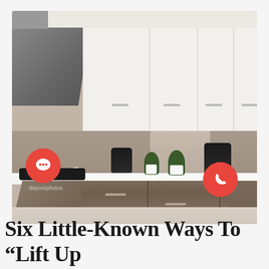[Figure (photo): Modern kitchen with wood-grain lower cabinets, white upper cabinets, grey/taupe backsplash, black cooktop, kettle and blender on countertop, potted plants, and range hood on the left. Two red circular UI icons (chat bubble and phone) overlaid at the bottom corners of the photo.]
Six Little-Known Ways To “Lift Up